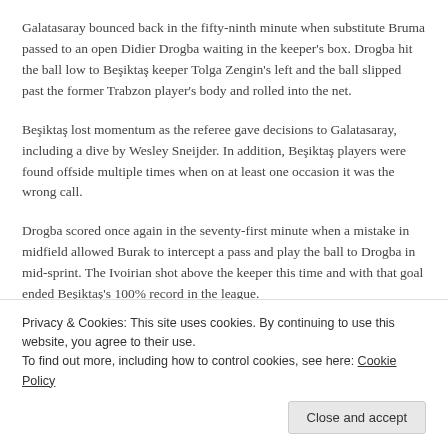Galatasaray bounced back in the fifty-ninth minute when substitute Bruma passed to an open Didier Drogba waiting in the keeper's box. Drogba hit the ball low to Beşiktaş keeper Tolga Zengin's left and the ball slipped past the former Trabzon player's body and rolled into the net.
Beşiktaş lost momentum as the referee gave decisions to Galatasaray, including a dive by Wesley Sneijder. In addition, Beşiktaş players were found offside multiple times when on at least one occasion it was the wrong call.
Drogba scored once again in the seventy-first minute when a mistake in midfield allowed Burak to intercept a pass and play the ball to Drogba in mid-sprint. The Ivoirian shot above the keeper this time and with that goal ended Beşiktaş's 100% record in the league.
Privacy & Cookies: This site uses cookies. By continuing to use this website, you agree to their use.
To find out more, including how to control cookies, see here: Cookie Policy
Close and accept